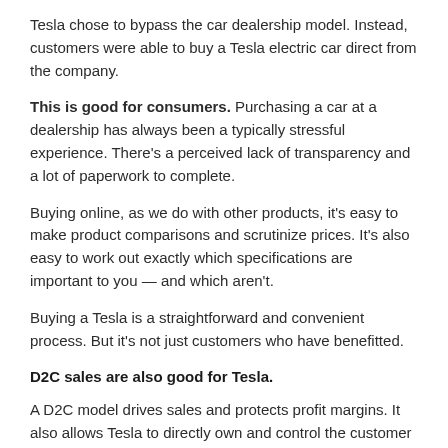Tesla chose to bypass the car dealership model. Instead, customers were able to buy a Tesla electric car direct from the company.
This is good for consumers. Purchasing a car at a dealership has always been a typically stressful experience. There's a perceived lack of transparency and a lot of paperwork to complete.
Buying online, as we do with other products, it's easy to make product comparisons and scrutinize prices. It's also easy to work out exactly which specifications are important to you — and which aren't.
Buying a Tesla is a straightforward and convenient process. But it's not just customers who have benefitted.
D2C sales are also good for Tesla.
A D2C model drives sales and protects profit margins. It also allows Tesla to directly own and control the customer relationship from start to finish — without any third-party involvement. The company gets access to a ton of great data, which can then inform future business decisions.